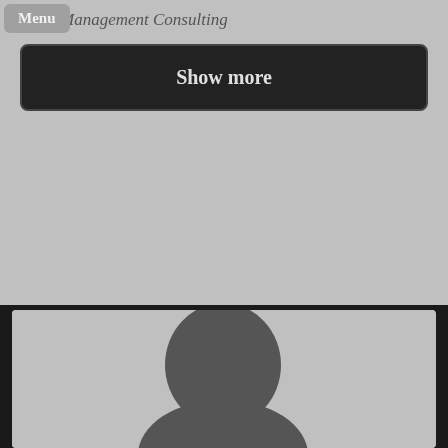Management Consulting
Show more
[Figure (photo): Placeholder silhouette of a person's head and shoulders on a gray background]